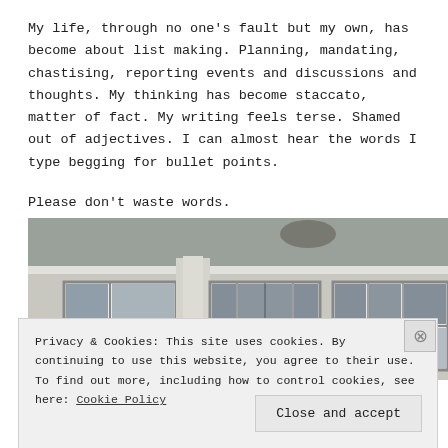My life, through no one's fault but my own, has become about list making. Planning, mandating, chastising, reporting events and discussions and thoughts. My thinking has become staccato, matter of fact. My writing feels terse. Shamed out of adjectives. I can almost hear the words I type begging for bullet points.
Please don't waste words.
[Figure (photo): Exterior photo of a house showing windows with white frames and dark panes, partial view of roofline against a light sky.]
Privacy & Cookies: This site uses cookies. By continuing to use this website, you agree to their use.
To find out more, including how to control cookies, see here: Cookie Policy
Close and accept